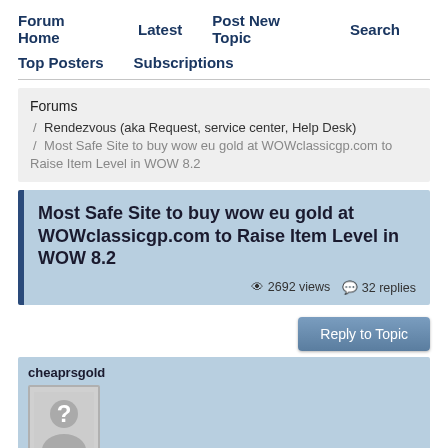Forum Home   Latest   Post New Topic   Search
Top Posters   Subscriptions
Forums / Rendezvous (aka Request, service center, Help Desk) / Most Safe Site to buy wow eu gold at WOWclassicgp.com to Raise Item Level in WOW 8.2
Most Safe Site to buy wow eu gold at WOWclassicgp.com to Raise Item Level in WOW 8.2
2692 views  32 replies
Reply to Topic
cheaprsgold